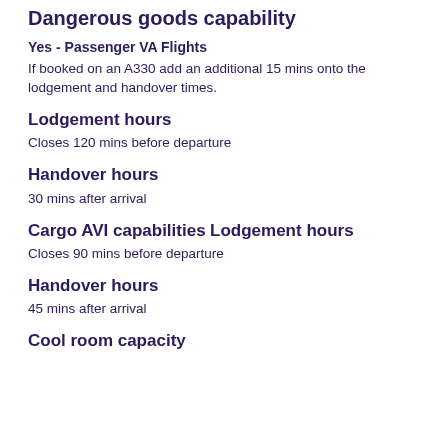Dangerous goods capability
Yes - Passenger VA Flights
If booked on an A330 add an additional 15 mins onto the lodgement and handover times.
Lodgement hours
Closes 120 mins before departure
Handover hours
30 mins after arrival
Cargo AVI capabilities
Lodgement hours
Closes 90 mins before departure
Handover hours
45 mins after arrival
Cool room capacity